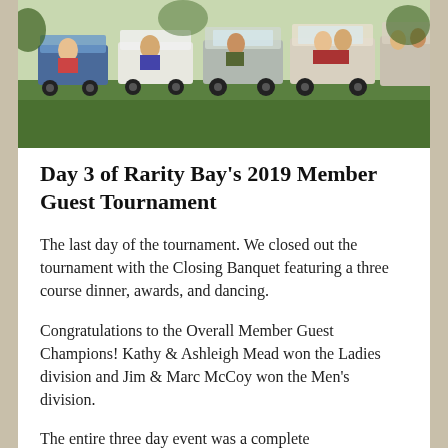[Figure (photo): Outdoor photo showing a line of golf carts parked on a grass area with people riding in them, taken at Rarity Bay Member Guest Tournament.]
Day 3 of Rarity Bay's 2019 Member Guest Tournament
The last day of the tournament. We closed out the tournament with the Closing Banquet featuring a three course dinner, awards, and dancing.
Congratulations to the Overall Member Guest Champions! Kathy & Ashleigh Mead won the Ladies division and Jim & Marc McCoy won the Men's division.
The entire three day event was a complete